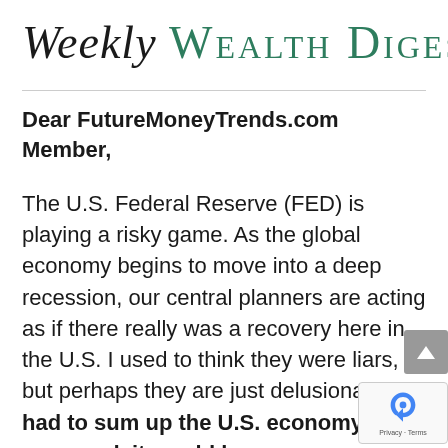Weekly Wealth Digest
Dear FutureMoneyTrends.com Member,
The U.S. Federal Reserve (FED) is playing a risky game. As the global economy begins to move into a deep recession, our central planners are acting as if there really was a recovery here in the U.S. I used to think they were liars, but perhaps they are just delusionary. If I had to sum up the U.S. economy in one word, it would be “unsustainable.”